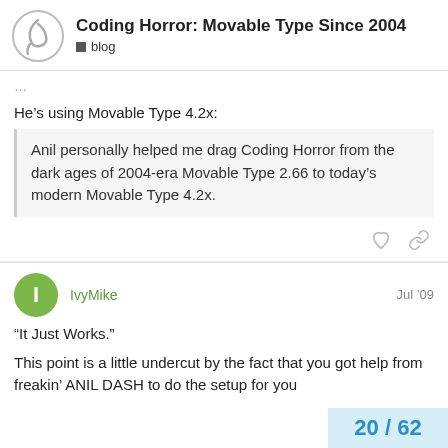Coding Horror: Movable Type Since 2004 | blog
He's using Movable Type 4.2x:
Anil personally helped me drag Coding Horror from the dark ages of 2004-era Movable Type 2.66 to today's modern Movable Type 4.2x.
IvyMike Jul '09
“It Just Works.”
This point is a little undercut by the fact that you got help from freakin’ ANIL DASH to do the setup for you
20 / 62